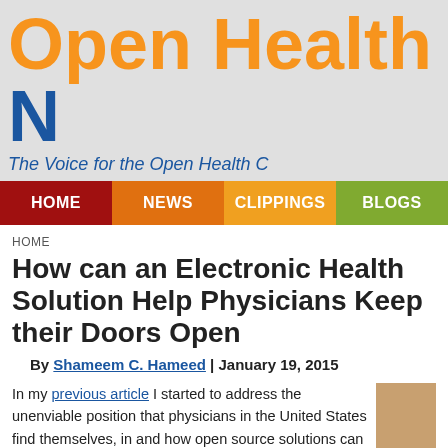Open Health N
The Voice for the Open Health C
HOME | NEWS | CLIPPINGS | BLOGS
HOME
How can an Electronic Health Solution Help Physicians Keep their Doors Open
By Shameem C. Hameed | January 19, 2015
In my previous article I started to address the unenviable position that physicians in the United States find themselves, in and how open source solutions can help them keep their doors open. In this article we will address some of the additional business challenges that physician offices and clinics face, and how the Electronic Health Solution (EHS) that we just released can help give them the tools and flexibility to both care for their patients and run a sustainable practice.
This is a critical issue facing the United States today, as tens of